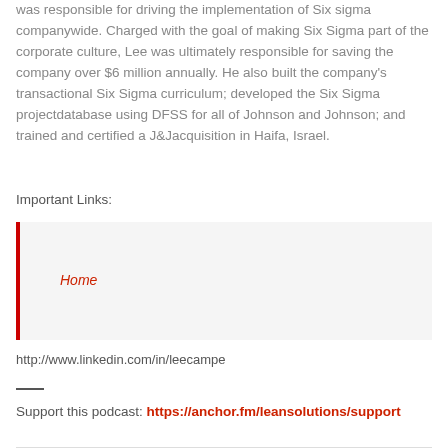was responsible for driving the implementation of Six sigma companywide. Charged with the goal of making Six Sigma part of the corporate culture, Lee was ultimately responsible for saving the company over $6 million annually. He also built the company's transactional Six Sigma curriculum; developed the Six Sigma projectdatabase using DFSS for all of Johnson and Johnson; and trained and certified a J&Jacquisition in Haifa, Israel.
Important Links:
Home
http://www.linkedin.com/in/leecampe
—
Support this podcast: https://anchor.fm/leansolutions/support